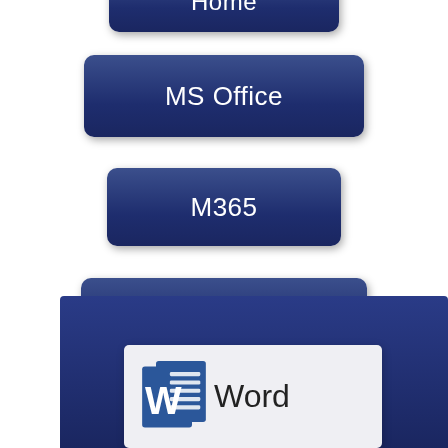[Figure (screenshot): Navigation button labeled 'Home' (partially cropped at top), dark navy blue rounded rectangle button]
[Figure (screenshot): Navigation button labeled 'MS Office', dark navy blue rounded rectangle button]
[Figure (screenshot): Navigation button labeled 'M365', dark navy blue rounded rectangle button]
[Figure (screenshot): Navigation button labeled 'Soft Skills', dark navy blue rounded rectangle button]
[Figure (screenshot): Dark navy blue wide panel at bottom of page with a white card containing Microsoft Word logo and the text 'Word']